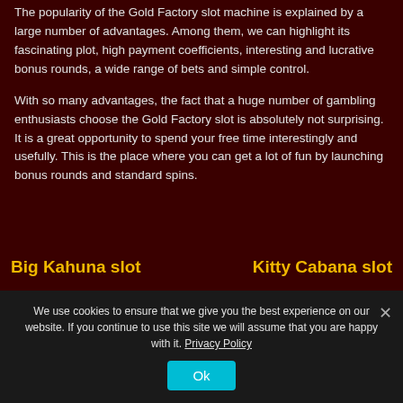The popularity of the Gold Factory slot machine is explained by a large number of advantages. Among them, we can highlight its fascinating plot, high payment coefficients, interesting and lucrative bonus rounds, a wide range of bets and simple control.
With so many advantages, the fact that a huge number of gambling enthusiasts choose the Gold Factory slot is absolutely not surprising. It is a great opportunity to spend your free time interestingly and usefully. This is the place where you can get a lot of fun by launching bonus rounds and standard spins.
Big Kahuna slot
Kitty Cabana slot
We use cookies to ensure that we give you the best experience on our website. If you continue to use this site we will assume that you are happy with it. Privacy Policy
Ok